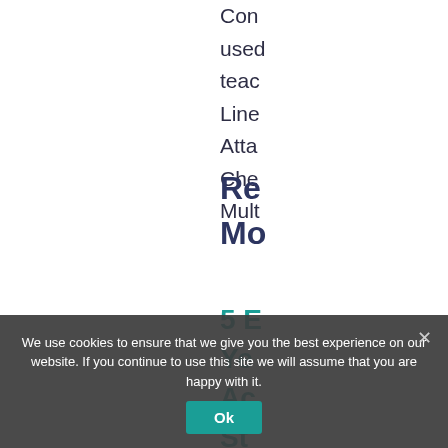Con
used
teac
Line
Atta
Che
Mult
Re
Mo
5 E
Ye
Ac
St
En
Th
We use cookies to ensure that we give you the best experience on our website. If you continue to use this site we will assume that you are happy with it.